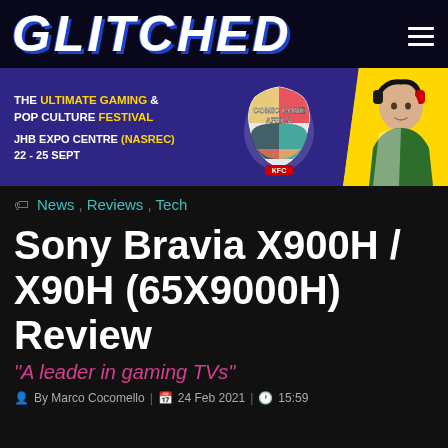GLITCHED
[Figure (illustration): Comic Con Africa promotional banner — purple background, 'THE ULTIMATE GAMING & POP CULTURE FESTIVAL', 'JHB EXPO CENTRE (NASREC) 22 - 25 SEPT', Comic Con Africa logo in center, gamer person with headset on right with yellow highlight]
News, Reviews, Tech
Sony Bravia X900H / X90H (65X9000H) Review
"A leader in gaming TVs"
By Marco Cocomello | 24 Feb 2021 | 15:59